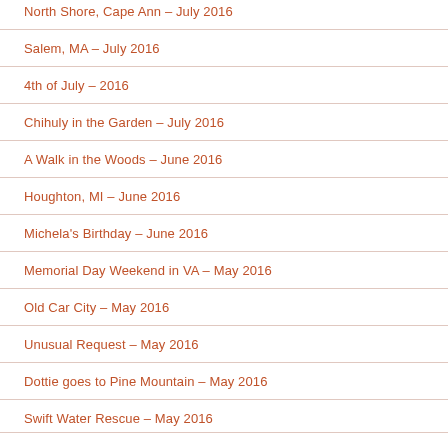North Shore, Cape Ann – July 2016
Salem, MA – July 2016
4th of July – 2016
Chihuly in the Garden – July 2016
A Walk in the Woods – June 2016
Houghton, MI – June 2016
Michela's Birthday – June 2016
Memorial Day Weekend in VA – May 2016
Old Car City – May 2016
Unusual Request – May 2016
Dottie goes to Pine Mountain – May 2016
Swift Water Rescue – May 2016